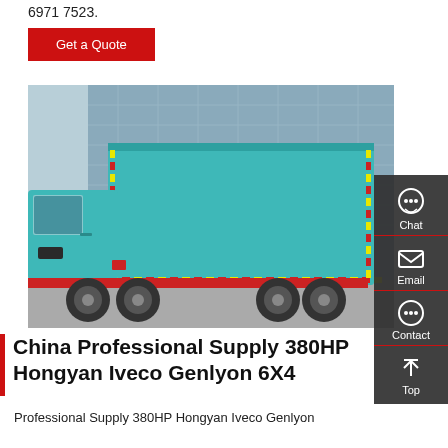6971 7523.
Get a Quote
[Figure (photo): A teal/turquoise Hongyan Iveco Genlyon 6X4 dump truck parked in front of a glass-facade building]
[Figure (infographic): Dark sidebar with Chat, Email, Contact, and Top navigation icons]
China Professional Supply 380HP Hongyan Iveco Genlyon 6X4
Professional Supply 380HP Hongyan Iveco Genlyon